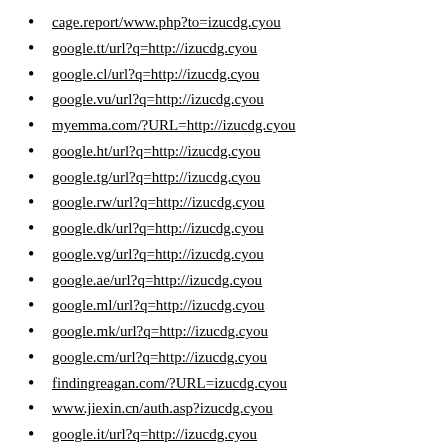cage.report/www.php?to=izucdg.cyou
google.tt/url?q=http://izucdg.cyou
google.cl/url?q=http://izucdg.cyou
google.vu/url?q=http://izucdg.cyou
myemma.com/?URL=http://izucdg.cyou
google.ht/url?q=http://izucdg.cyou
google.tg/url?q=http://izucdg.cyou
google.rw/url?q=http://izucdg.cyou
google.dk/url?q=http://izucdg.cyou
google.vg/url?q=http://izucdg.cyou
google.ae/url?q=http://izucdg.cyou
google.ml/url?q=http://izucdg.cyou
google.mk/url?q=http://izucdg.cyou
google.cm/url?q=http://izucdg.cyou
findingreagan.com/?URL=izucdg.cyou
www.jiexin.cn/auth.asp?izucdg.cyou
google.it/url?q=http://izucdg.cyou
www.woorank.com/es/www/izucdg.cyou
www.fcterc.gov.ng/?URL=izucdg.cyou